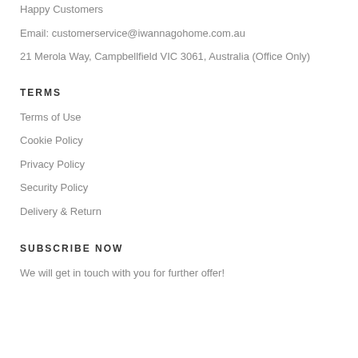Happy Customers
Email: customerservice@iwannagohome.com.au
21 Merola Way, Campbellfield VIC 3061, Australia (Office Only)
TERMS
Terms of Use
Cookie Policy
Privacy Policy
Security Policy
Delivery & Return
SUBSCRIBE NOW
We will get in touch with you for further offer!